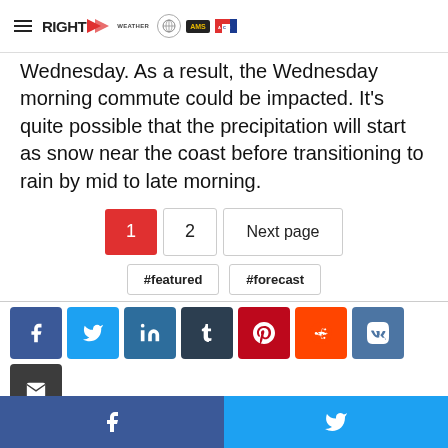RIGHT Weather | AMS | ACM
Wednesday. As a result, the Wednesday morning commute could be impacted. It's quite possible that the precipitation will start as snow near the coast before transitioning to rain by mid to late morning.
1  2  Next page
#featured  #forecast
[Figure (other): Social sharing buttons: Facebook, Twitter, LinkedIn, Tumblr, Pinterest, Reddit, VK, Email, Print]